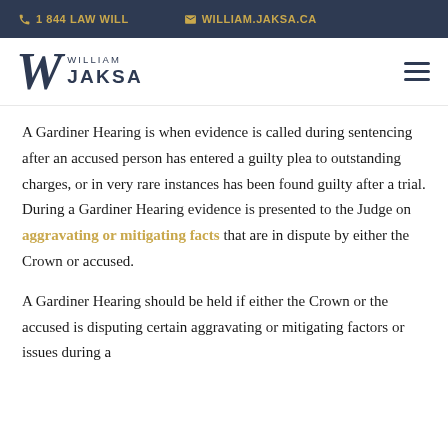1 844 LAW WILL | WILLIAM.JAKSA.CA
[Figure (logo): William Jaksa law firm logo with stylized W and firm name]
A Gardiner Hearing is when evidence is called during sentencing after an accused person has entered a guilty plea to outstanding charges, or in very rare instances has been found guilty after a trial. During a Gardiner Hearing evidence is presented to the Judge on aggravating or mitigating facts that are in dispute by either the Crown or accused.
A Gardiner Hearing should be held if either the Crown or the accused is disputing certain aggravating or mitigating factors or issues during a